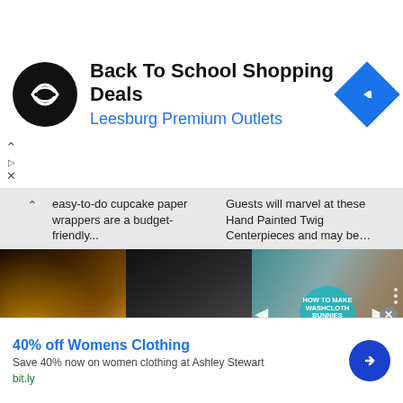[Figure (screenshot): Top ad banner: Black circular logo with white loop/infinity symbol, bold title 'Back To School Shopping Deals', blue subtitle 'Leesburg Premium Outlets', blue diamond arrow icon on right. Small play/close controls on left side.]
easy-to-do cupcake paper wrappers are a budget-friendly...
Guests will marvel at these Hand Painted Twig Centerpieces and may be...
[Figure (photo): Two-column image grid: left side shows marquee letter lights and wreath; right side shows handmade bunny figure in basket with video overlay reading 'HOW TO MAKE WASHCLOTH BUNNIES' with teal play button, prev/next controls, dots and expand icon.]
Steal the Show Marque Letters
Holder
Your wedding is sure to be the talk
If you're looking for a way to add s
[Figure (screenshot): Bottom ad banner: '40% off Womens Clothing' in blue bold text. 'Save 40% now on women clothing at Ashley Stewart'. 'bit.ly' in green. Blue circular arrow button on right. Close X button at top right of banner.]